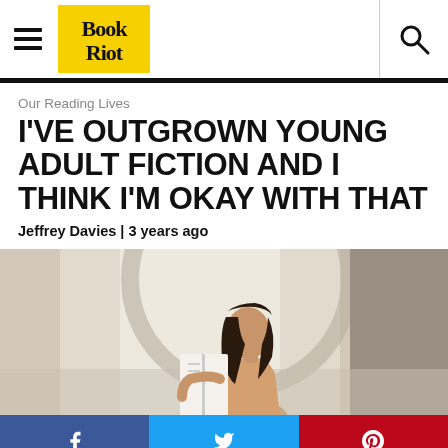Book Riot — navigation bar with logo and search
Our Reading Lives
I'VE OUTGROWN YOUNG ADULT FICTION AND I THINK I'M OKAY WITH THAT
Jeffrey Davies | 3 years ago
[Figure (photo): Young woman with long dark hair reading a book, photographed from the side against a bright window with a circular architectural element in background]
Social share buttons: Facebook, Twitter, Pinterest